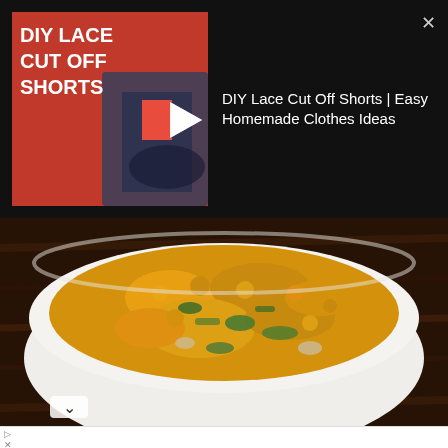[Figure (screenshot): Video ad thumbnail showing 'DIY LACE CUT OFF SHORTS' text on red background with jeans image]
DIY Lace Cut Off Shorts | Easy Homemade Clothes Ideas
[Figure (photo): Overhead photo of a white bowl containing scrambled egg and vegetable dish (yellow crumbled food with green vegetables) on a dark wooden surface]
[Figure (infographic): Bottom banner advertisement: HC logo (yellow square with black HC text), text 'View store hours, get directions, or call your salon!' and a blue navigation arrow icon]